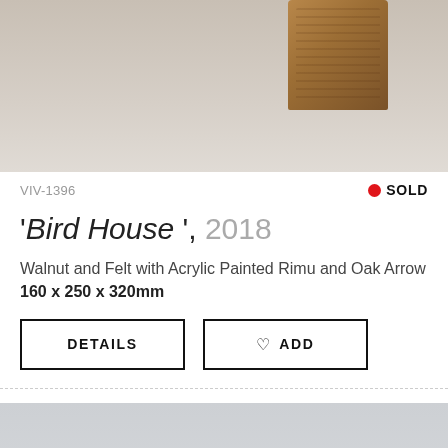[Figure (photo): Top portion of an artwork photograph showing a wooden block/cube with visible wood grain mounted on a light beige/gray background]
VIV-1396
● SOLD
'Bird House', 2018
Walnut and Felt with Acrylic Painted Rimu and Oak Arrow
160 x 250 x 320mm
DETAILS
♡ ADD
[Figure (photo): Bottom portion of another artwork photograph showing a plain light gray surface]